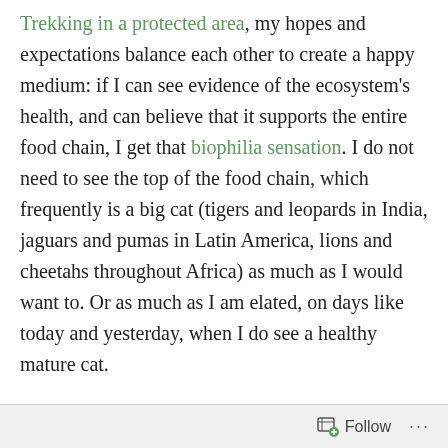Trekking in a protected area, my hopes and expectations balance each other to create a happy medium: if I can see evidence of the ecosystem's health, and can believe that it supports the entire food chain, I get that biophilia sensation. I do not need to see the top of the food chain, which frequently is a big cat (tigers and leopards in India, jaguars and pumas in Latin America, lions and cheetahs throughout Africa) as much as I would want to. Or as much as I am elated, on days like today and yesterday, when I do see a healthy mature cat.

This photo above (taken October 29, 7:30 a.m.) may remind you of a blurry bigfoot image in one of
Follow ···